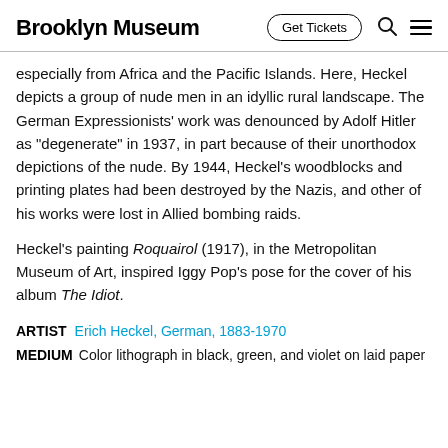Brooklyn Museum | Get Tickets
especially from Africa and the Pacific Islands. Here, Heckel depicts a group of nude men in an idyllic rural landscape. The German Expressionists' work was denounced by Adolf Hitler as “degenerate” in 1937, in part because of their unorthodox depictions of the nude. By 1944, Heckel’s woodblocks and printing plates had been destroyed by the Nazis, and other of his works were lost in Allied bombing raids.
Heckel’s painting Roquairol (1917), in the Metropolitan Museum of Art, inspired Iggy Pop’s pose for the cover of his album The Idiot.
ARTIST  Erich Heckel, German, 1883-1970
MEDIUM  Color lithograph in black, green, and violet on laid paper